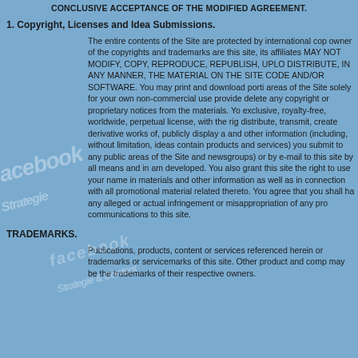CONCLUSIVE ACCEPTANCE OF THE MODIFIED AGREEMENT.
1. Copyright, Licenses and Idea Submissions.
The entire contents of the Site are protected by international cop owner of the copyrights and trademarks are this site, its affiliates MAY NOT MODIFY, COPY, REPRODUCE, REPUBLISH, UPLO DISTRIBUTE, IN ANY MANNER, THE MATERIAL ON THE SITE CODE AND/OR SOFTWARE. You may print and download porti areas of the Site solely for your own non-commercial use provide delete any copyright or proprietary notices from the materials. Yo exclusive, royalty-free, worldwide, perpetual license, with the rig distribute, transmit, create derivative works of, publicly display a and other information (including, without limitation, ideas contain products and services) you submit to any public areas of the Site and newsgroups) or by e-mail to this site by all means and in am developed. You also grant this site the right to use your name in materials and other information as well as in connection with all promotional material related thereto. You agree that you shall ha any alleged or actual infringement or misappropriation of any pro communications to this site.
TRADEMARKS.
Publications, products, content or services referenced herein or trademarks or servicemarks of this site. Other product and comp may be the trademarks of their respective owners.